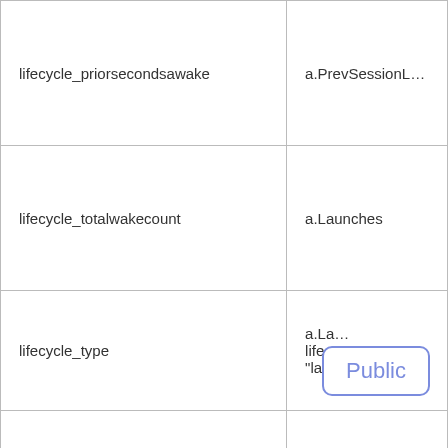| lifecycle_priorsecondsawake | a.PrevSessionL… |
| lifecycle_totalwakecount | a.Launches |
| lifecycle_type | a.La…
lifec…
"lau… |